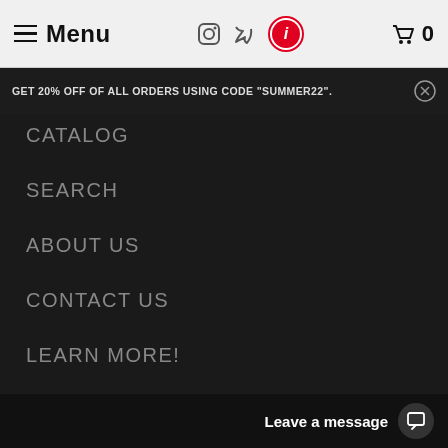Menu
GET 20% OFF OF ALL ORDERS USING CODE "SUMMER22".
CATALOG
SEARCH
ABOUT US
CONTACT US
LEARN MORE!
BLOG
INSTRUCTIONAL VIDEOS
THE COMPLETE GUIDE
Leave a message